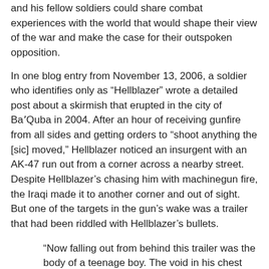and his fellow soldiers could share combat experiences with the world that would shape their view of the war and make the case for their outspoken opposition.
In one blog entry from November 13, 2006, a soldier who identifies only as “Hellblazer” wrote a detailed post about a skirmish that erupted in the city of Ba'Quba in 2004. After an hour of receiving gunfire from all sides and getting orders to “shoot anything the [sic] moved,” Hellblazer noticed an insurgent with an AK-47 run out from a corner across a nearby street. Despite Hellblazer’s chasing him with machinegun fire, the Iraqi made it to another corner and out of sight. But one of the targets in the gun’s wake was a trailer that had been riddled with Hellblazer’s bullets.
“Now falling out from behind this trailer was the body of a teenage boy. The void in his chest replaced what was once his heart and his body convulsed slightly as his nerve endings fired their last. His body lay there in the filthy dirty street, muddy water surrounding him from the drainage of the nearby houses … Nausea filled my stomach and a cold feeling overtook my flesh.